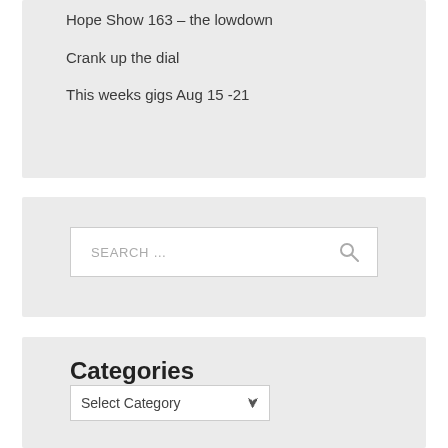Hope Show 163 – the lowdown
Crank up the dial
This weeks gigs Aug 15 -21
SEARCH ...
Categories
Select Category